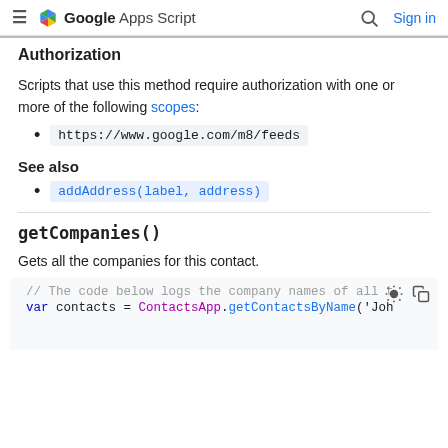Google Apps Script — Sign in
Authorization
Scripts that use this method require authorization with one or more of the following scopes:
https://www.google.com/m8/feeds
See also
addAddress(label, address)
getCompanies()
Gets all the companies for this contact.
[Figure (screenshot): Code block showing: // The code below logs the company names of all t
var contacts = ContactsApp.getContactsByName('Joh]